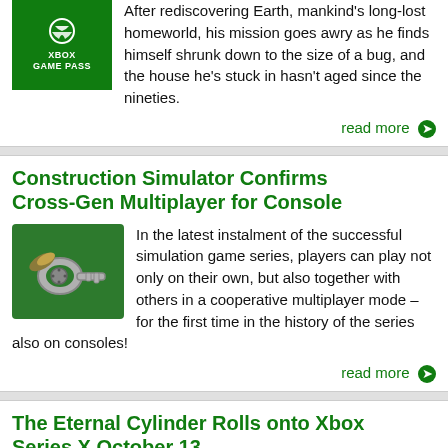After rediscovering Earth, mankind's long-lost homeworld, his mission goes awry as he finds himself shrunk down to the size of a bug, and the house he's stuck in hasn't aged since the nineties.
read more
Construction Simulator Confirms Cross-Gen Multiplayer for Console
In the latest instalment of the successful simulation game series, players can play not only on their own, but also together with others in a cooperative multiplayer mode – for the first time in the history of the series also on consoles!
read more
The Eternal Cylinder Rolls onto Xbox Series X October 13
The surreal open-world survival adventure game's upcoming Anniversary Update will